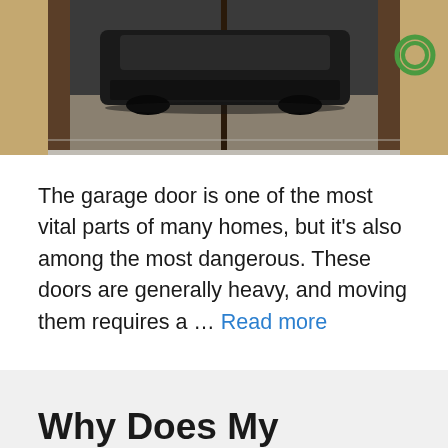[Figure (photo): A garage with open doors showing a dark SUV/truck exiting or parked, with concrete floor, wooden door frames, and a green hose hanging on the right wall.]
The garage door is one of the most vital parts of many homes, but it's also among the most dangerous. These doors are generally heavy, and moving them requires a … Read more
Why Does My Garage Door Stop Halfway Down?